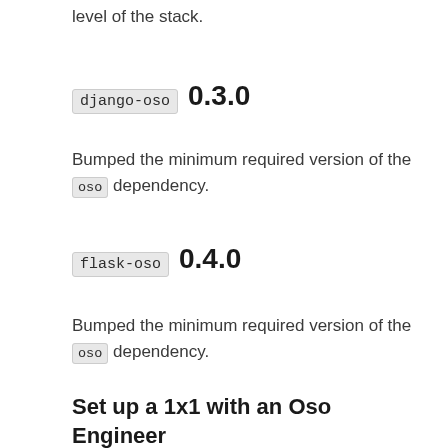level of the stack.
django-oso 0.3.0
Bumped the minimum required version of the oso dependency.
flask-oso 0.4.0
Bumped the minimum required version of the oso dependency.
Set up a 1x1 with an Oso Engineer